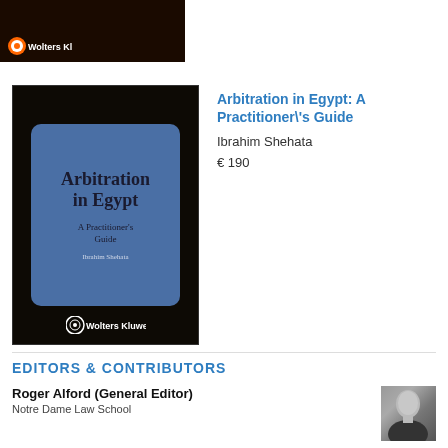[Figure (photo): Partial book cover of a legal publication with black background and Wolters Kluwer logo, cropped at top]
[Figure (photo): Book cover: Arbitration in Egypt: A Practitioner's Guide, black background with blue rounded rectangle, Wolters Kluwer publisher]
Arbitration in Egypt: A Practitioner\'s Guide
Ibrahim Shehata
€ 190
EDITORS & CONTRIBUTORS
Roger Alford (General Editor)
Notre Dame Law School
[Figure (photo): Black and white headshot photo of Roger Alford]
Crina Baltag (Managing Editor)
[Figure (photo): Black and white headshot photo of Crina Baltag]